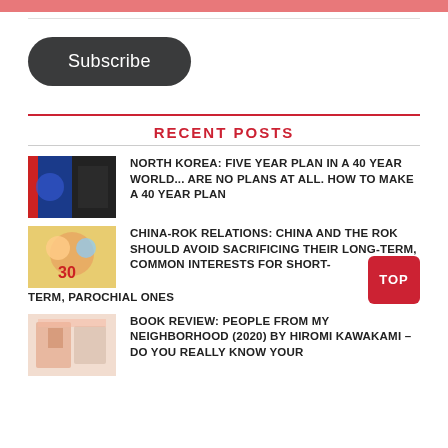Subscribe
RECENT POSTS
NORTH KOREA: FIVE YEAR PLAN IN A 40 YEAR WORLD... ARE NO PLANS AT ALL. HOW TO MAKE A 40 YEAR PLAN
CHINA-ROK RELATIONS: CHINA AND THE ROK SHOULD AVOID SACRIFICING THEIR LONG-TERM, COMMON INTERESTS FOR SHORT-TERM, PAROCHIAL ONES
BOOK REVIEW: PEOPLE FROM MY NEIGHBORHOOD (2020) BY HIROMI KAWAKAMI – DO YOU REALLY KNOW YOUR